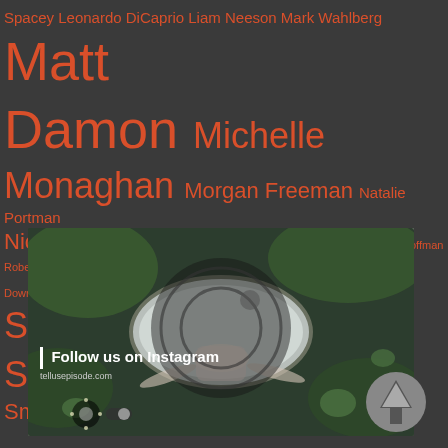Spacey Leonardo DiCaprio Liam Neeson Mark Wahlberg Matt Damon Michelle Monaghan Morgan Freeman Natalie Portman Nicolas Cage Nicole Kidman Peter Sarsgaard Philip Seymour Hoffman Robert De Niro Robert Downey Jr. Robin Wright Rosario Dawson Russell Crowe Samuel L. Jackson Tilda Swinton Tom Hanks Will Smith
[Figure (photo): Aerial view of a person lying in a white bathtub surrounded by green water and lily pads, with an Instagram camera icon overlay and 'Follow us on Instagram / tellusepisode.com' text. A toggle/settings icon appears at bottom left.]
[Figure (logo): Gray circular logo with a stylized pine tree / upward arrow shape inside]